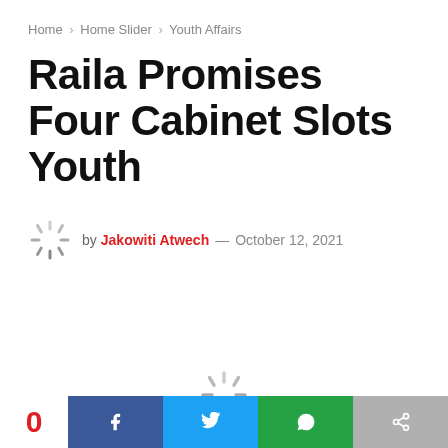Home > Home Slider > Youth Affairs
Raila Promises Four Cabinet Slots Youth
by Jakowiti Atwech — October 12, 2021
[Figure (other): Loading spinner placeholder for article image]
[Figure (other): Loading spinner placeholder for center content]
0